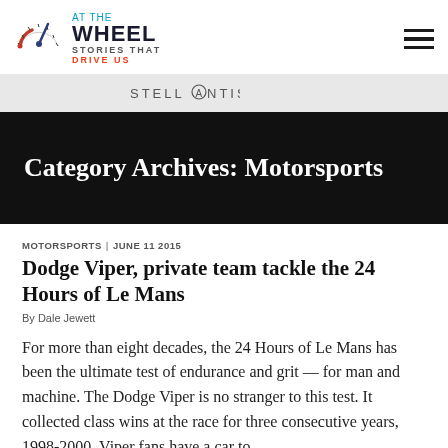[Figure (logo): At The Wheel logo with speedometer graphic and tagline 'Stories That Drive Us']
[Figure (logo): Stellantis logo in gray bar]
Category Archives: Motorsports
MOTORSPORTS | JUNE 11 2015
Dodge Viper, private team tackle the 24 Hours of Le Mans
By Dale Jewett
For more than eight decades, the 24 Hours of Le Mans has been the ultimate test of endurance and grit — for man and machine. The Dodge Viper is no stranger to this test. It collected class wins at the race for three consecutive years, 1998-2000. Viper fans have a car to